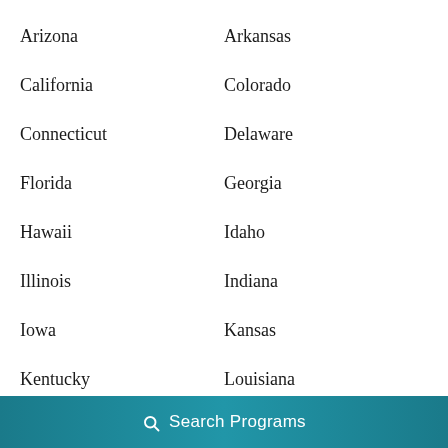Arizona
Arkansas
California
Colorado
Connecticut
Delaware
Florida
Georgia
Hawaii
Idaho
Illinois
Indiana
Iowa
Kansas
Kentucky
Louisiana
Maine
Maryland
Search Programs